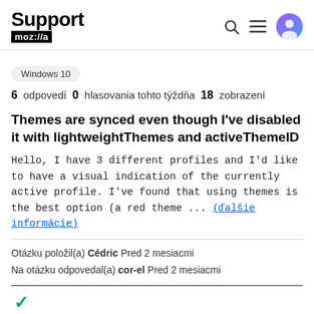Support mozilla // a
Windows 10
6 odpovedí  0  hlasovania tohto týždňa  18  zobrazení
Themes are synced even though I've disabled it with lightweightThemes and activeThemeID
Hello, I have 3 different profiles and I'd like to have a visual indication of the currently active profile. I've found that using themes is the best option (a red theme ... (ďalšie informácie)
Otázku položil(a) Cédric Pred 2 mesiacmi
Na otázku odpovedal(a) cor-el Pred 2 mesiacmi